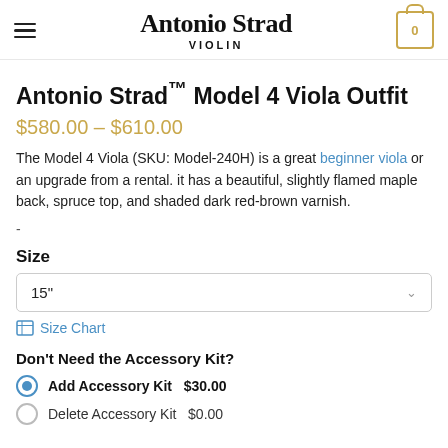Antonio Strad VIOLIN
Antonio Strad™ Model 4 Viola Outfit
$580.00 – $610.00
The Model 4 Viola (SKU: Model-240H) is a great beginner viola or an upgrade from a rental. it has a beautiful, slightly flamed maple back, spruce top, and shaded dark red-brown varnish.
-
Size
15"
Size Chart
Don't Need the Accessory Kit?
Add Accessory Kit   $30.00
Delete Accessory Kit   $0.00